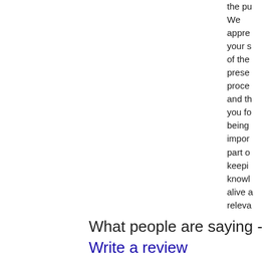the pu We appre your s of the prese proce and th you fo being impor part o keepi knowl alive a releva
What people are saying - Write a review